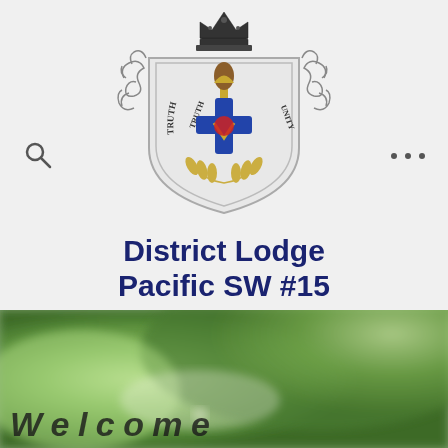[Figure (logo): Heraldic crest/coat of arms for District Lodge Pacific SW #15, featuring a crown at top, shield with cross and decorative elements, text reading TRUTH, DL, UNITY on the shield, with ornate scrollwork supporters on either side]
District Lodge Pacific SW #15
[Figure (photo): Blurred outdoor nature/garden photo with green foliage in background, partially visible at bottom of page]
W e l c o m e